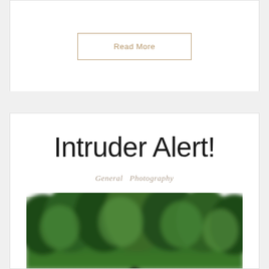hamburger menu icon
Read More
Intruder Alert!
General   Photography
[Figure (photo): Outdoor blurred photo showing green trees in background and a dark figure/bird near water at the bottom, taken at a lake or pond setting]